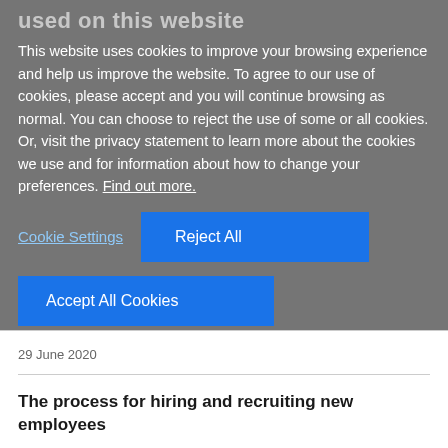used on this website
This website uses cookies to improve your browsing experience and help us improve the website. To agree to our use of cookies, please accept and you will continue browsing as normal. You can choose to reject the use of some or all cookies. Or, visit the privacy statement to learn more about the cookies we use and for information about how to change your preferences. Find out more.
Cookie Settings
Reject All
Accept All Cookies
29 June 2020
The process for hiring and recruiting new employees